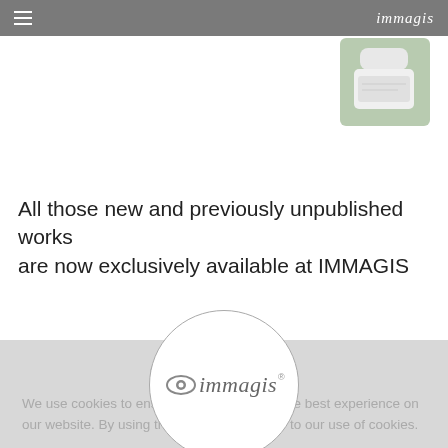immagis
[Figure (photo): Product image in top-right corner showing a small cosmetic/beauty product container]
All those new and previously unpublished works are now exclusively available at IMMAGIS
[Figure (logo): Immagis circular logo with italic serif text 'immagis' inside a circle]
Cookie Notice
We use cookies to ensure that we give you the best experience on our website. By using the website you agree to our use of cookies.
OK